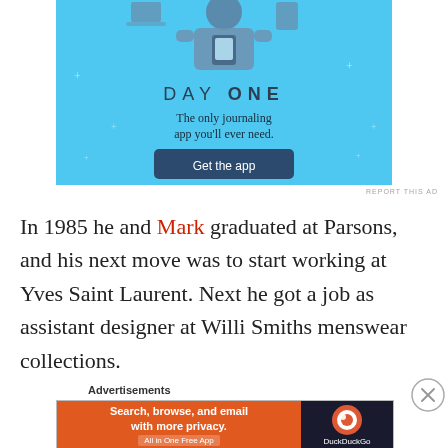[Figure (illustration): Day One journaling app advertisement with light blue background showing person holding a phone, text 'DAY ONE', tagline 'The only journaling app you'll ever need.' and a dark blue 'Get the app' button]
REPORT THIS AD
In 1985 he and Mark graduated at Parsons, and his next move was to start working at Yves Saint Laurent. Next he got a job as assistant designer at Willi Smiths menswear collections.
Advertisements
[Figure (illustration): DuckDuckGo advertisement banner with orange left section reading 'Search, browse, and email with more privacy. All in One Free App' and dark right section with DuckDuckGo logo and name]